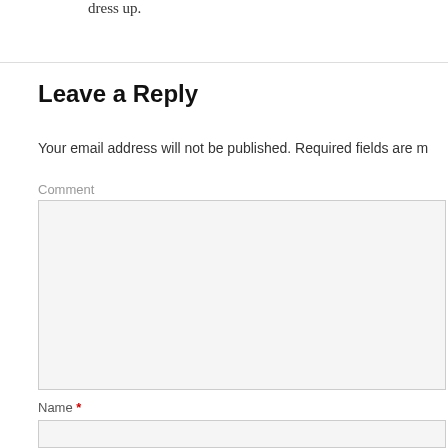dress up.
Leave a Reply
Your email address will not be published. Required fields are m
Comment
Name *